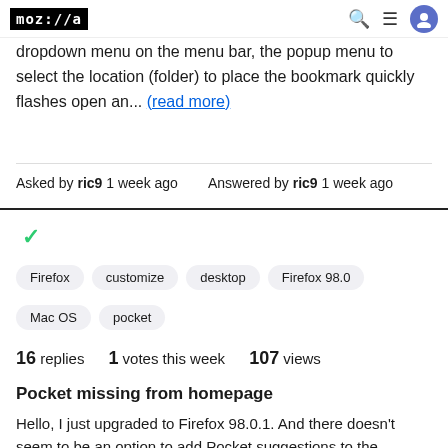moz://a
dropdown menu on the menu bar, the popup menu to select the location (folder) to place the bookmark quickly flashes open an... (read more)
Asked by ric9 1 week ago   Answered by ric9 1 week ago
Firefox
customize
desktop
Firefox 98.0
Mac OS
pocket
16 replies   1 votes this week   107 views
Pocket missing from homepage
Hello, I just upgraded to Firefox 98.0.1. And there doesn't seem to be an option to add Pocket suggestions to the homepage, as there used to be. You can add Pocket